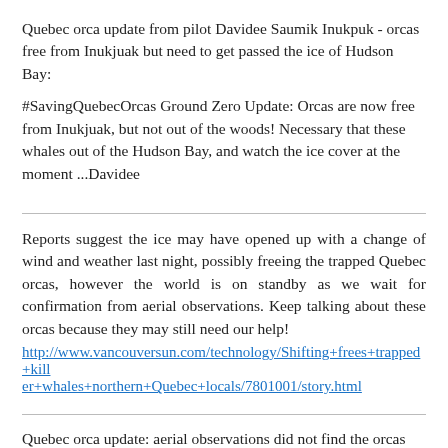Quebec orca update from pilot Davidee Saumik Inukpuk - orcas free from Inukjuak but need to get passed the ice of Hudson Bay:
#SavingQuebecOrcas Ground Zero Update: Orcas are now free from Inukjuak, but not out of the woods! Necessary that these whales out of the Hudson Bay, and watch the ice cover at the moment ...Davidee
Reports suggest the ice may have opened up with a change of wind and weather last night, possibly freeing the trapped Quebec orcas, however the world is on standby as we wait for confirmation from aerial observations. Keep talking about these orcas because they may still need our help!
http://www.vancouversun.com/technology/Shifting+frees+trapped+killer+whales+northern+Quebec+locals/7801001/story.html
Quebec orca update: aerial observations did not find the orcas but did see lots of ice-free patches leading to open water, so fins and fingers crossed that these orcas made it out just fine! A big thank you to all